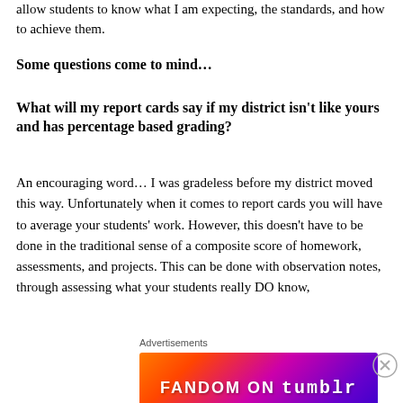allow students to know what I am expecting, the standards, and how to achieve them.
Some questions come to mind…
What will my report cards say if my district isn't like yours and has percentage based grading?
An encouraging word… I was gradeless before my district moved this way. Unfortunately when it comes to report cards you will have to average your students' work. However, this doesn't have to be done in the traditional sense of a composite score of homework, assessments, and projects. This can be done with observation notes, through assessing what your students really DO know,
Advertisements
[Figure (other): Fandom on Tumblr advertisement banner with colorful gradient background]